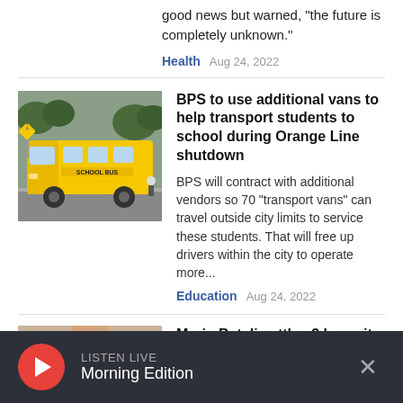good news but warned, "the future is completely unknown."
Health  Aug 24, 2022
[Figure (photo): Yellow school bus at intersection with pedestrian crossing sign]
BPS to use additional vans to help transport students to school during Orange Line shutdown
BPS will contract with additional vendors so 70 "transport vans" can travel outside city limits to service these students. That will free up drivers within the city to operate more...
Education  Aug 24, 2022
[Figure (photo): Partial view of person's face]
Mario Batali settles 2 lawsuits
LISTEN LIVE
Morning Edition